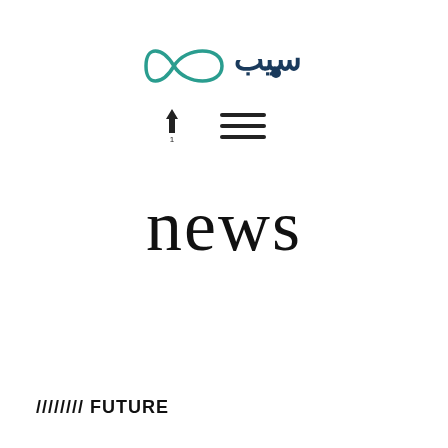[Figure (logo): A logo featuring an infinity-like loop shape in teal/dark teal with Arabic-style stylized text (سيب or similar) in dark teal/navy on the right side]
[Figure (other): Navigation icons: an upward arrow with a small '1' below it on the left, and a hamburger menu (three horizontal lines) icon on the right]
news
//////// FUTURE